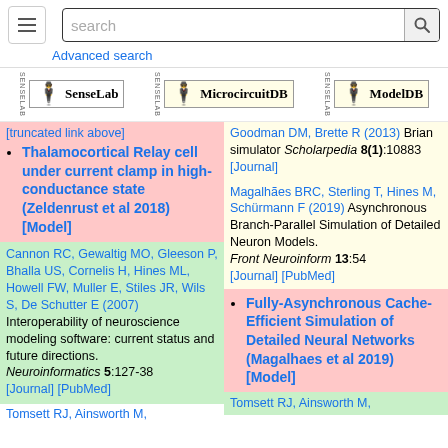search  Advanced search
[Figure (logo): SenseLab logo]
[Figure (logo): MicrocircuitDB logo]
[Figure (logo): ModelDB logo]
Thalamocortical Relay cell under current clamp in high-conductance state (Zeldenrust et al 2018) [Model]
Goodman DM, Brette R (2013) Brian simulator Scholarpedia 8(1):10883 [Journal]
Cannon RC, Gewaltig MO, Gleeson P, Bhalla US, Cornelis H, Hines ML, Howell FW, Muller E, Stiles JR, Wils S, De Schutter E (2007) Interoperability of neuroscience modeling software: current status and future directions. Neuroinformatics 5:127-38 [Journal] [PubMed]
Magalhães BRC, Sterling T, Hines M, Schürmann F (2019) Asynchronous Branch-Parallel Simulation of Detailed Neuron Models. Front Neuroinform 13:54 [Journal] [PubMed]
Fully-Asynchronous Cache-Efficient Simulation of Detailed Neural Networks (Magalhaes et al 2019) [Model]
Tomsett RJ, Ainsworth M,